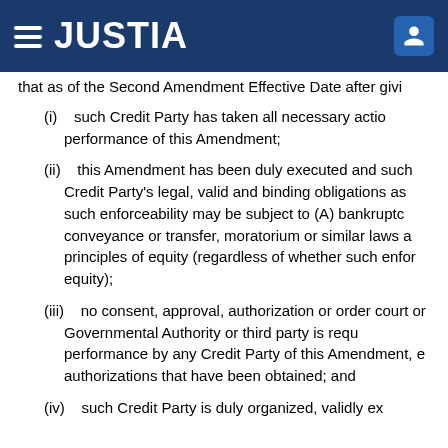JUSTIA
that as of the Second Amendment Effective Date after givi
(i)    such Credit Party has taken all necessary actio performance of this Amendment;
(ii)    this Amendment has been duly executed and such Credit Party's legal, valid and binding obligations as such enforceability may be subject to (A) bankruptc conveyance or transfer, moratorium or similar laws a principles of equity (regardless of whether such enfor equity);
(iii)    no consent, approval, authorization or order court or Governmental Authority or third party is requ performance by any Credit Party of this Amendment, e authorizations that have been obtained; and
(iv)    such Credit Party is duly organized, validly ex